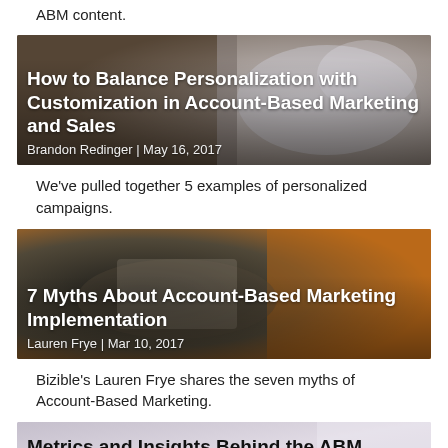ABM content.
[Figure (photo): Article card image with overlay text: 'How to Balance Personalization with Customization in Account-Based Marketing and Sales' by Brandon Redinger, May 16, 2017]
We've pulled together 5 examples of personalized campaigns.
[Figure (photo): Article card image with overlay text: '7 Myths About Account-Based Marketing Implementation' by Lauren Frye, Mar 10, 2017]
Bizible's Lauren Frye shares the seven myths of Account-Based Marketing.
[Figure (photo): Article card image with partial text: 'Metrics and Insights Behind the ABM Revolution: Long Awaited Q&A']